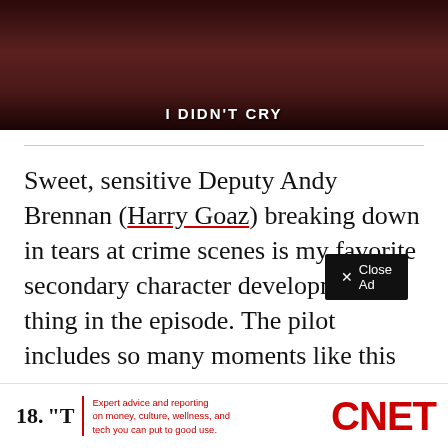[Figure (photo): Dark reddish-brown image of a person (knees/lower body visible) sitting or crouched, with fallen leaves background. Text overlay reads 'I DIDN'T CRY' at the bottom.]
Sweet, sensitive Deputy Andy Brennan (Harry Goaz) breaking down in tears at crime scenes is my favorite secondary character development thing in the episode. The pilot includes so many moments like this that just introduce the characters and establish the tone and set up dynamics that will pay off later.
18. "T
Expert advice and reporting on money, culture, wellness, and tech you can put to good use.
CNET